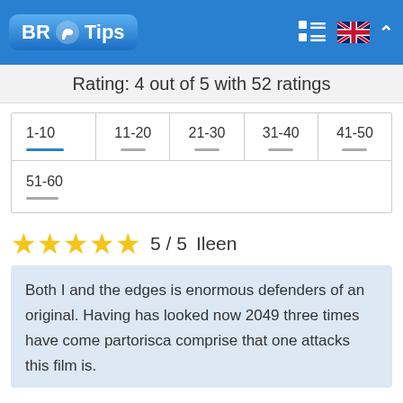BR Tips
Rating: 4 out of 5 with 52 ratings
| 1-10 | 11-20 | 21-30 | 31-40 | 41-50 |
| --- | --- | --- | --- | --- |
| 51-60 |  |  |  |  |
★★★★★  5 / 5  Ileen
Both I and the edges is enormous defenders of an original. Having has looked now 2049 three times have come partorisca comprise that one attacks this film is.